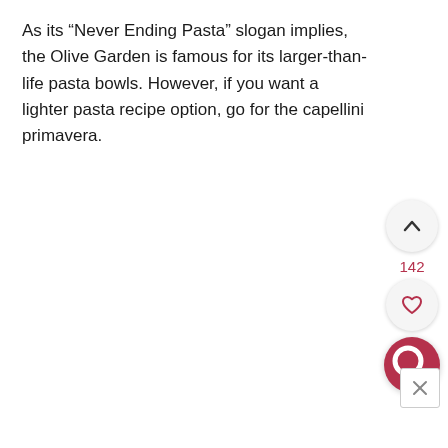As its “Never Ending Pasta” slogan implies, the Olive Garden is famous for its larger-than-life pasta bowls. However, if you want a lighter pasta recipe option, go for the capellini primavera.
[Figure (other): UI overlay panel with upvote chevron button, like count 142, heart/favorite button, red search button, and a close (X) box]